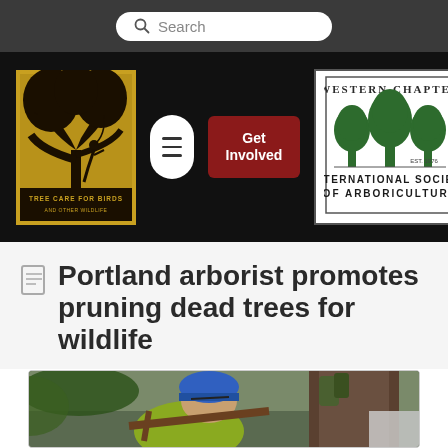Search
[Figure (logo): Tree Care for Birds and Other Wildlife logo - yellow background with black silhouette of tree climber in a tree]
[Figure (logo): Western Chapter International Society of Arboriculture logo - green trees illustration with text]
Portland arborist promotes pruning dead trees for wildlife
[Figure (photo): Arborist wearing blue helmet and yellow safety vest working in a tree with large trunk]